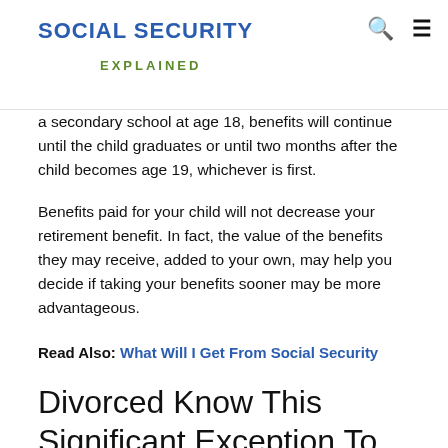SOCIAL SECURITY EXPLAINED
a secondary school at age 18, benefits will continue until the child graduates or until two months after the child becomes age 19, whichever is first.
Benefits paid for your child will not decrease your retirement benefit. In fact, the value of the benefits they may receive, added to your own, may help you decide if taking your benefits sooner may be more advantageous.
Read Also: What Will I Get From Social Security
Divorced Know This Significant Exception To The Rule
When you claim your Social Security fill out start to dit...